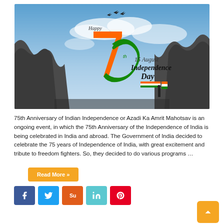[Figure (illustration): 75th Independence Day of India illustration showing rocky landscape with blue sky, jet fighters flying overhead, large stylized '75th' in Indian flag colors (orange and green), text reading 'Happy 15 August Independence Day' with Indian flag colors, and a person holding the Indian flag on a cliff]
75th Anniversary of Indian Independence or Azadi Ka Amrit Mahotsav is an ongoing event, in which the 75th Anniversary of the Independence of India is being celebrated in India and abroad. The Government of India decided to celebrate the 75 years of Independence of India, with great excitement and tribute to freedom fighters. So, they decided to do various programs …
Read More »
[Figure (infographic): Social share buttons: Facebook (blue), Twitter (light blue), StumbleUpon (orange-red), LinkedIn (teal), Pinterest (red)]